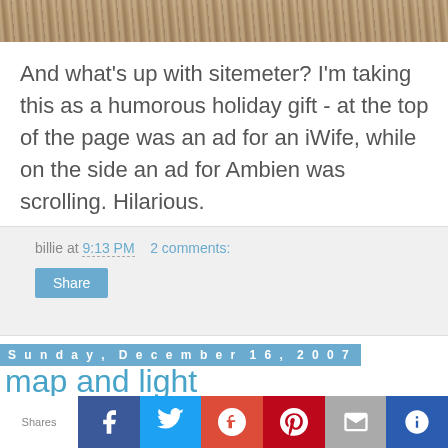[Figure (photo): Top portion of a nature/outdoor photo showing dried grass or plant material in brown tones]
And what's up with sitemeter? I'm taking this as a humorous holiday gift - at the top of the page was an ad for an iWife, while on the side an ad for Ambien was scrolling. Hilarious.
billie at 9:13 PM    2 comments:
Share
Sunday, December 16, 2007
map and light
[Figure (photo): Bottom portion of a photo showing a framed artwork or map with golden/brown tones]
Shares  f  t  G+  P  mail  crown